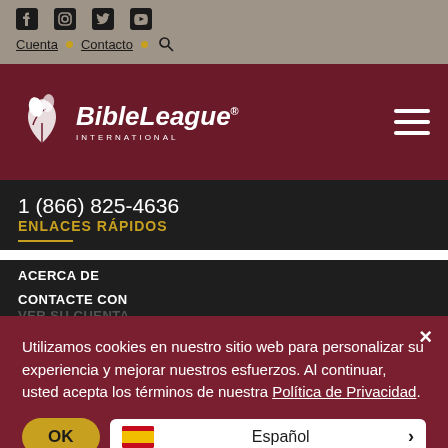Facebook, Instagram, Twitter, YouTube | Cuenta • Contacto • Search
[Figure (logo): BibleLeague International logo with white leaf/plant icon and white text on dark red background]
1 (866) 825-4636
ENLACES RÁPIDOS
ACERCA DE
CONTACTE CON
Utilizamos cookies en nuestro sitio web para personalizar su experiencia y mejorar nuestros esfuerzos. Al continuar, usted acepta los términos de nuestra Política de Privacidad.
OK
Español